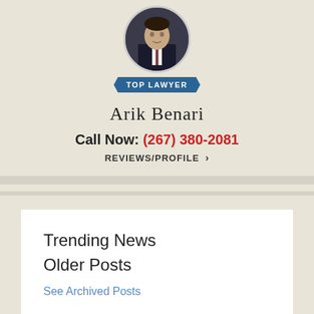[Figure (photo): Professional headshot of Arik Benari in a dark suit and tie, displayed in a circular crop]
TOP LAWYER
Arik Benari
Call Now: (267) 380-2081
REVIEWS/PROFILE >
Trending News
Older Posts
See Archived Posts